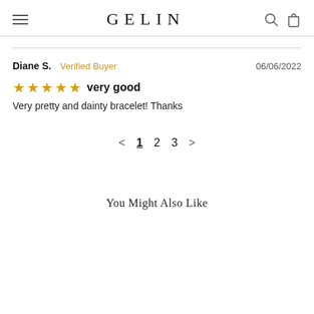GELIN
Diane S. Verified Buyer   06/06/2022
★★★★★  very good
Very pretty and dainty bracelet! Thanks
< 1 2 3 >
You Might Also Like